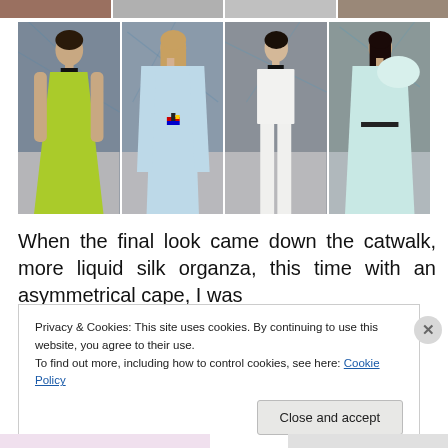[Figure (photo): Partial top strip of cropped fashion runway photos showing models at top edge]
[Figure (photo): Grid of four fashion runway photos: model in green/yellow lace dress; model in pale blue long-sleeve dress with colorful cross belt detail; model in all-white structured top and trousers; model in pale teal ruffled dress. Blue geometric lines visible in background.]
When the final look came down the catwalk, more liquid silk organza, this time with an asymmetrical cape, I was
Privacy & Cookies: This site uses cookies. By continuing to use this website, you agree to their use.
To find out more, including how to control cookies, see here: Cookie Policy